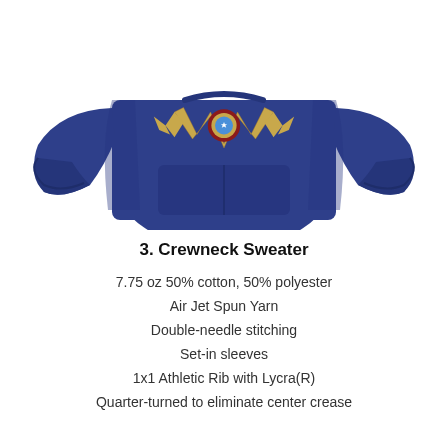[Figure (photo): Navy blue crewneck sweatshirt with Wonder Woman logo graphic on the chest, displayed on a white background]
3. Crewneck Sweater
7.75 oz 50% cotton, 50% polyester
Air Jet Spun Yarn
Double-needle stitching
Set-in sleeves
1x1 Athletic Rib with Lycra(R)
Quarter-turned to eliminate center crease